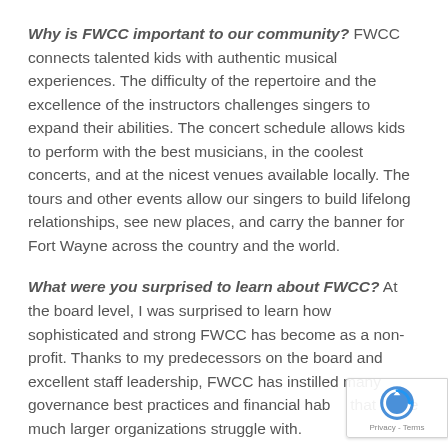Why is FWCC important to our community? FWCC connects talented kids with authentic musical experiences. The difficulty of the repertoire and the excellence of the instructors challenges singers to expand their abilities. The concert schedule allows kids to perform with the best musicians, in the coolest concerts, and at the nicest venues available locally. The tours and other events allow our singers to build lifelong relationships, see new places, and carry the banner for Fort Wayne across the country and the world.
What were you surprised to learn about FWCC? At the board level, I was surprised to learn how sophisticated and strong FWCC has become as a non-profit. Thanks to my predecessors on the board and excellent staff leadership, FWCC has instilled many governance best practices and financial habits that some much larger organizations struggle with.